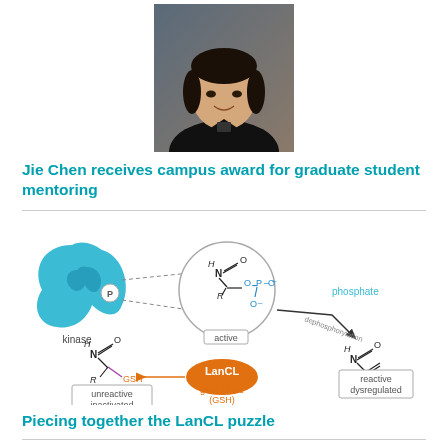[Figure (photo): Headshot portrait of Jie Chen, an Asian woman with short dark hair, wearing a black jacket, smiling against a dark background.]
Jie Chen receives campus award for graduate student mentoring
[Figure (schematic): Biochemical diagram showing kinase phosphorylation pathway. A kidney-shaped blue kinase enzyme with a 'P' label points via dashed lines to a circle showing an active phosphorylated amino acid structure (H, N, O, R, O-P-O). An arrow labeled 'dephosphorylation' leads to a reactive/dysregulated form on the right. An arrow points left through LanCL (orange ellipse) with glutathione (GSH) to an unreactive/inactivated form on the lower left (with GSH label). Labels: kinase, phosphate, active, dephosphorylation, glutathione (GSH), LanCL, unreactive inactivated, reactive dysregulated.]
Piecing together the LanCL puzzle